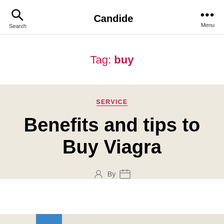Search  Candide  Menu
Tag: buy
SERVICE
Benefits and tips to Buy Viagra
By